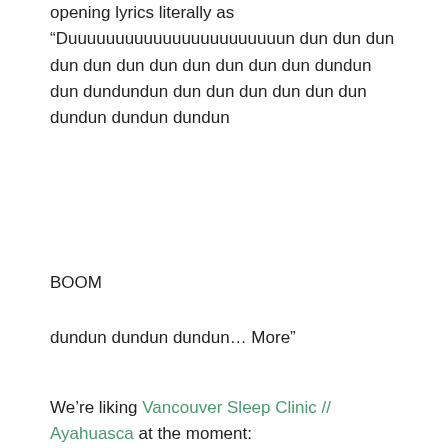opening lyrics literally as “Duuuuuuuuuuuuuuuuuuuuuuun dun dun dun dun dun dun dun dun dun dun dun dundun dun dundundun dun dun dun dun dun dun dundun dundun dundun
BOOM
dundun dundun dundun… More”
We’re liking Vancouver Sleep Clinic // Ayahuasca at the moment:
Beautify yourself
Now that you have your non sandstorm tunes on and you are well into your wind down, it’s time for your beauty routine. I don’t need to tell you how important taking care